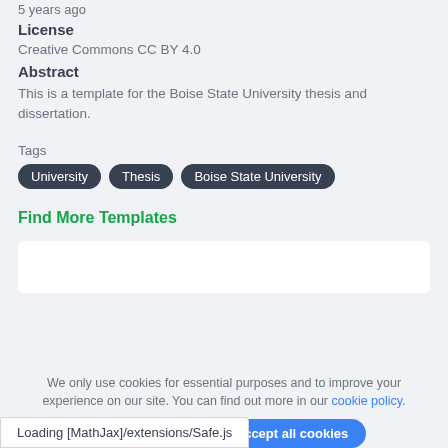5 years ago
License
Creative Commons CC BY 4.0
Abstract
This is a template for the Boise State University thesis and dissertation.
Tags
University
Thesis
Boise State University
Find More Templates
[Figure (other): White content box placeholder]
We only use cookies for essential purposes and to improve your experience on our site. You can find out more in our cookie policy.
Essential cookies only   Accept all cookies
Loading [MathJax]/extensions/Safe.js